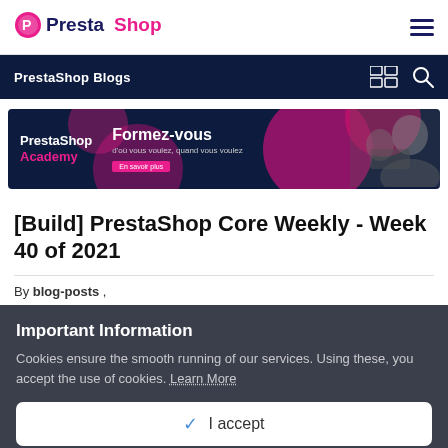PrestaShop
PrestaShop Blogs
[Figure (illustration): PrestaShop Academy promotional banner with text 'Formez-vous d'où vous voulez, quand vous voulez' on dark navy background with pink geometric shapes and a person at laptop]
[Build] PrestaShop Core Weekly - Week 40 of 2021
By blog-posts ,
Important Information
Cookies ensure the smooth running of our services. Using these, you accept the use of cookies. Learn More
✓ I accept